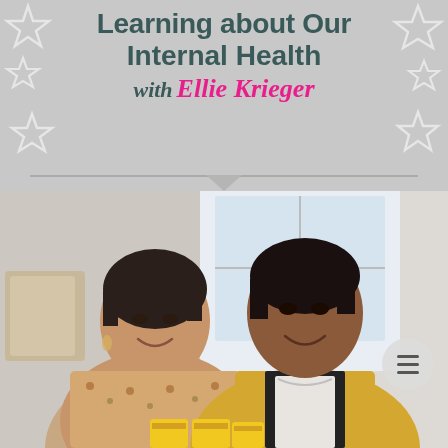Learning about Our Internal Health with Ellie Krieger
[Figure (photo): Two women smiling together indoors. Left woman has short dark hair, wearing a floral patterned blouse. Right woman has dark hair pulled back, wearing a black and yellow cardigan over a white top with a necklace. Yellow product boxes visible at the bottom.]